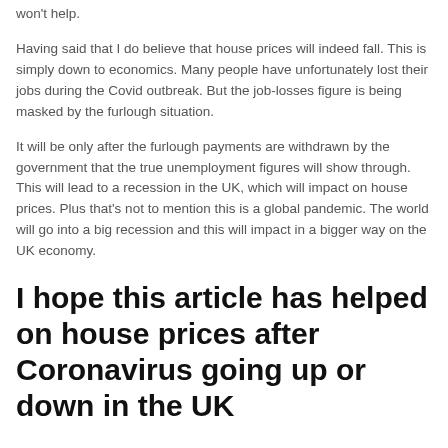won't help.
Having said that I do believe that house prices will indeed fall. This is simply down to economics. Many people have unfortunately lost their jobs during the Covid outbreak. But the job-losses figure is being masked by the furlough situation.
It will be only after the furlough payments are withdrawn by the government that the true unemployment figures will show through. This will lead to a recession in the UK, which will impact on house prices. Plus that's not to mention this is a global pandemic. The world will go into a big recession and this will impact in a bigger way on the UK economy.
I hope this article has helped on house prices after Coronavirus going up or down in the UK